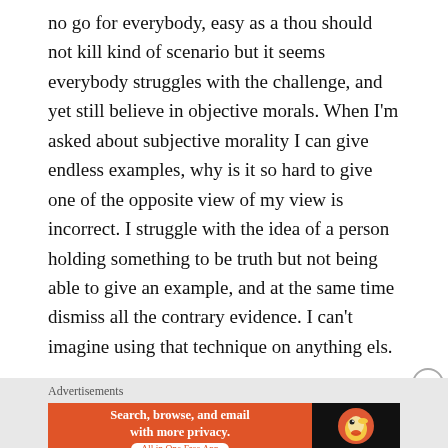no go for everybody, easy as a thou should not kill kind of scenario but it seems everybody struggles with the challenge, and yet still believe in objective morals. When I'm asked about subjective morality I can give endless examples, why is it so hard to give one of the opposite view of my view is incorrect. I struggle with the idea of a person holding something to be truth but not being able to give an example, and at the same time dismiss all the contrary evidence. I can't imagine using that technique on anything els.
Like
[Figure (infographic): DuckDuckGo advertisement banner: orange background on left with text 'Search, browse, and email with more privacy. All in One Free App', black background on right with DuckDuckGo duck logo and brand name.]